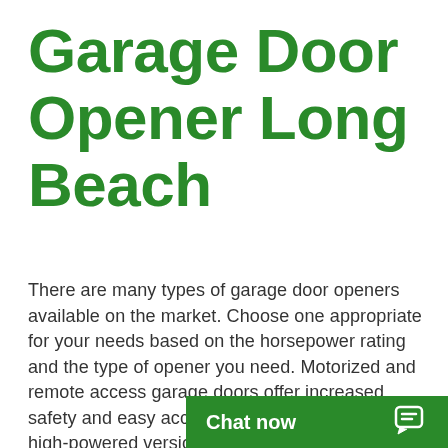Garage Door Opener Long Beach
There are many types of garage door openers available on the market. Choose one appropriate for your needs based on the horsepower rating and the type of opener you need. Motorized and remote access garage doors offer increased safety and easy accessibility, while heavy or high-powered versions can reduce wear and tear over time. You can also choose smart openers that you can operate with mobile phones.